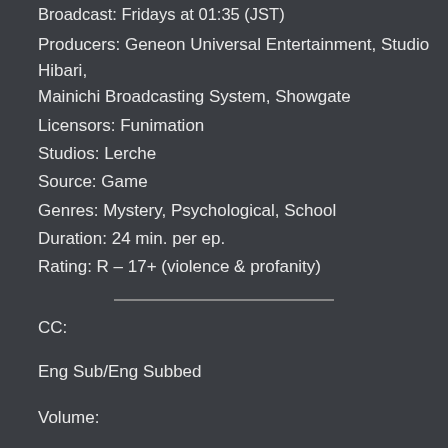Broadcast: Fridays at 01:35 (JST)
Producers: Geneon Universal Entertainment, Studio Hibari, Mainichi Broadcasting System, Showgate
Licensors: Funimation
Studios: Lerche
Source: Game
Genres: Mystery, Psychological, School
Duration: 24 min. per ep.
Rating: R – 17+ (violence & profanity)
CC:
Eng Sub/Eng Subbed
Volume:
10bit Dual Audio (English/Japanese)